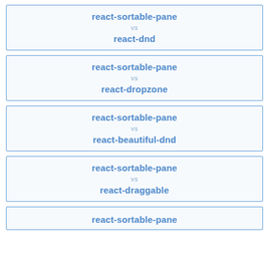[Figure (other): Card: react-sortable-pane vs react-dnd]
[Figure (other): Card: react-sortable-pane vs react-dropzone]
[Figure (other): Card: react-sortable-pane vs react-beautiful-dnd]
[Figure (other): Card: react-sortable-pane vs react-draggable]
[Figure (other): Card: react-sortable-pane (partial)]